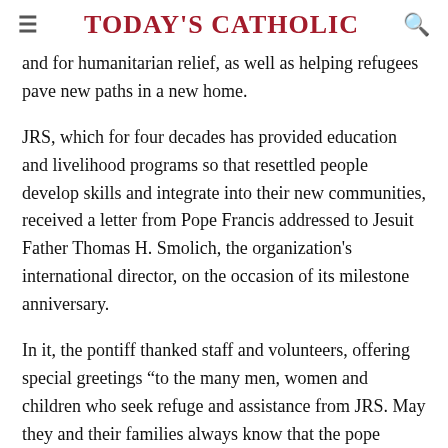Today's Catholic
and for humanitarian relief, as well as helping refugees pave new paths in a new home.
JRS, which for four decades has provided education and livelihood programs so that resettled people develop skills and integrate into their new communities, received a letter from Pope Francis addressed to Jesuit Father Thomas H. Smolich, the organization's international director, on the occasion of its milestone anniversary.
In it, the pontiff thanked staff and volunteers, offering special greetings “to the many men, women and children who seek refuge and assistance from JRS. May they and their families always know that the pope remains close to them and is